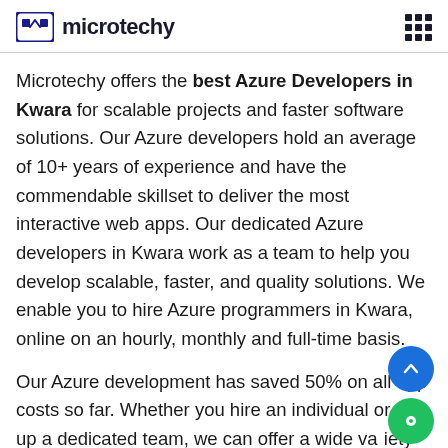microtechy
Microtechy offers the best Azure Developers in Kwara for scalable projects and faster software solutions. Our Azure developers hold an average of 10+ years of experience and have the commendable skillset to deliver the most interactive web apps. Our dedicated Azure developers in Kwara work as a team to help you develop scalable, faster, and quality solutions. We enable you to hire Azure programmers in Kwara, online on an hourly, monthly and full-time basis.
Our Azure development has saved 50% on all app costs so far. Whether you hire an individual or set up a dedicated team, we can offer a wide variety of Azure expert solutions to meet your needs.
Hire the best Azure developers in Kwara if you